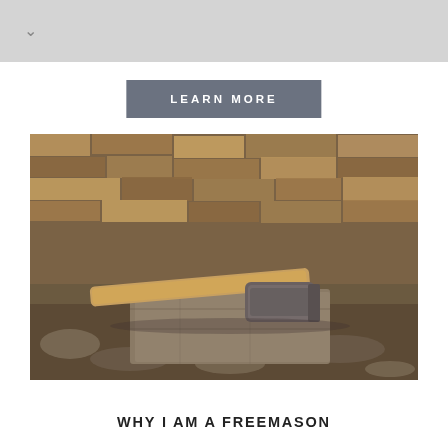LEARN MORE
[Figure (photo): A stone mason's hammer resting on a rough-hewn stone block, set against a background of a dry stone wall. The hammer has a wooden handle and a worn metal head. The foreground has stone chips and rubble.]
WHY I AM A FREEMASON